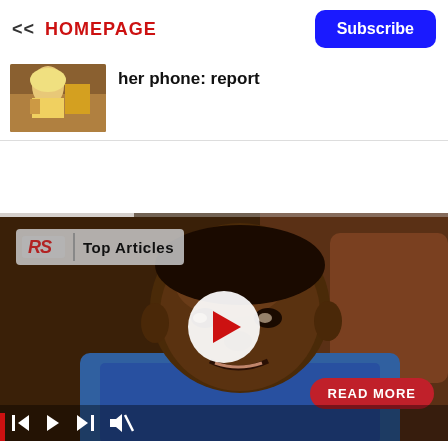<< HOMEPAGE | Subscribe
her phone: report
[Figure (photo): Thumbnail image of a blonde woman at a sporting event]
[Figure (screenshot): Video player showing a man being interviewed, with RS Top Articles badge, play button, media controls, and READ MORE button]